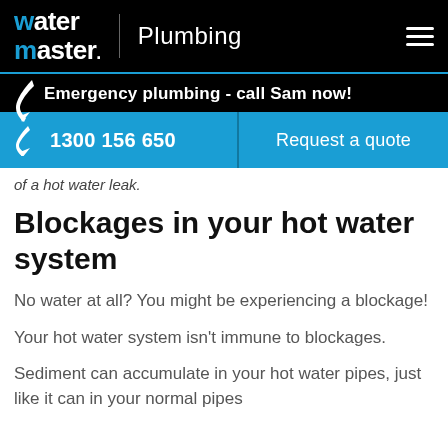water master | Plumbing
Emergency plumbing - call Sam now!
1300 156 650   Request a quote
of a hot water leak.
Blockages in your hot water system
No water at all? You might be experiencing a blockage!
Your hot water system isn't immune to blockages.
Sediment can accumulate in your hot water pipes, just like it can in your normal pipes